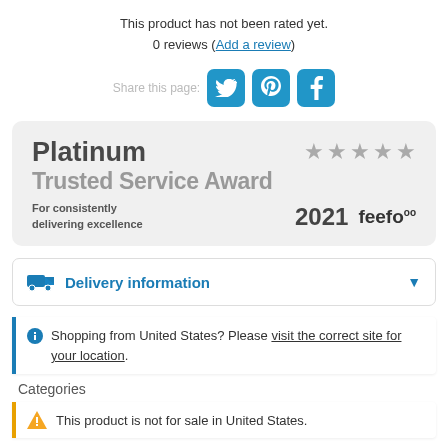This product has not been rated yet.
0 reviews (Add a review)
[Figure (infographic): Share this page with Twitter, Pinterest and Facebook social media icons (blue rounded square buttons)]
[Figure (infographic): Platinum Trusted Service Award 2021 Feefo badge with 5 grey stars on a light grey rounded rectangle background]
Delivery information (expandable section with dropdown arrow)
Shopping from United States? Please visit the correct site for your location.
Categories
This product is not for sale in United States.